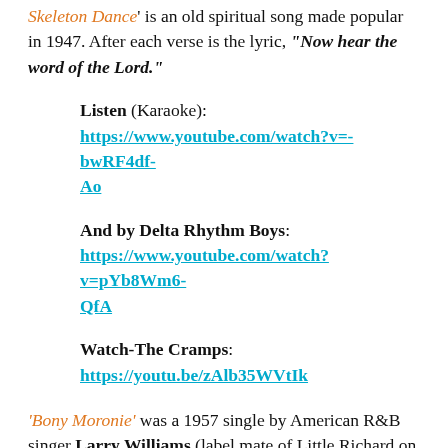'Skeleton Dance' is an old spiritual song made popular in 1947. After each verse is the lyric, "Now hear the word of the Lord."
Listen (Karaoke): https://www.youtube.com/watch?v=-bwRF4df-Ao
And by Delta Rhythm Boys: https://www.youtube.com/watch?v=pYb8Wm6-QfA
Watch-The Cramps: https://youtu.be/zAlb35WVtIk
'Bony Moronie' was a 1957 single by American R&B singer Larry Williams (label mate of Little Richard on Specialty Records). The Beatles were fans of Williams. They covered his songs 'Dizzy Miss Lizzy', 'Bad Boy'